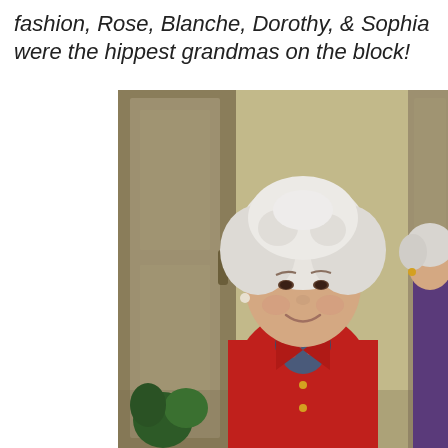fashion, Rose, Blanche, Dorothy, & Sophia were the hippest grandmas on the block!
[Figure (photo): An elderly woman with white curly hair, wearing a bright red jacket with a floral blouse underneath, smiling warmly. She stands in a hallway or doorway. Another white-haired woman is partially visible on the right edge.]